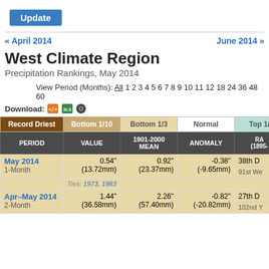[Figure (screenshot): Blue 'Update' button at top left]
« April 2014    June 2014 »
West Climate Region
Precipitation Rankings, May 2014
View Period (Months): All 1 2 3 4 5 6 7 8 9 10 11 12 18 24 36 48 60
Download:
| Record Driest / Bottom 1/10 / Bottom 1/3 / Normal / Top 1... | PERIOD | VALUE | 1901-2000 MEAN | ANOMALY | RANK (1895-...) |
| --- | --- | --- | --- | --- | --- |
| May 2014
1-Month | 0.54"
(13.72mm) | 0.92"
(23.37mm) | -0.38"
(-9.65mm) | 38th D
91st We |
| Ties: 1973, 1983 |  |  |  |  |
| Apr–May 2014
2-Month | 1.44"
(36.58mm) | 2.26"
(57.40mm) | -0.82"
(-20.82mm) | 27th D
102nd ... |